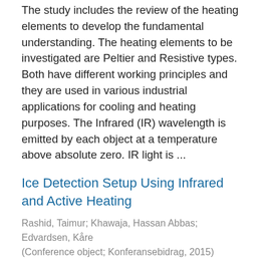The study includes the review of the heating elements to develop the fundamental understanding. The heating elements to be investigated are Peltier and Resistive types. Both have different working principles and they are used in various industrial applications for cooling and heating purposes. The Infrared (IR) wavelength is emitted by each object at a temperature above absolute zero. IR light is ...
Ice Detection Setup Using Infrared and Active Heating
Rashid, Taimur; Khawaja, Hassan Abbas; Edvardsen, Kåre
(Conference object; Konferansebidrag, 2015)
Considering the cold environment operations, ice accretion can occur at a rapid pace and can adversely affect the operations. In such scenario, ice detection is useful for the ice mitigation and removal upon the marine and offshore structures. Various techniques exist in the literature to detect the icing mainly utilizing its physical or